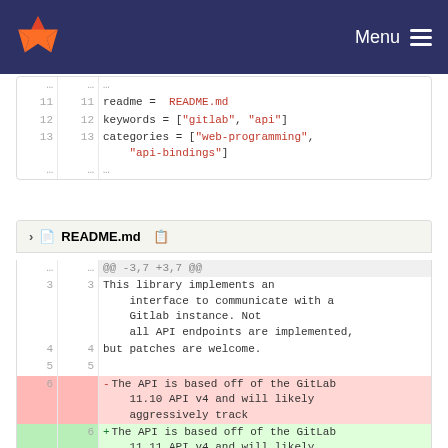GitLab navigation bar with logo and Menu
[Figure (screenshot): Code diff panel showing Cargo.toml lines 11-13 with readme, keywords, categories fields]
README.md
[Figure (screenshot): Code diff panel for README.md showing hunk @@ -3,7 +3,7 @@, lines 3-6 with deletion of GitLab 11.10 and addition of 11.11]